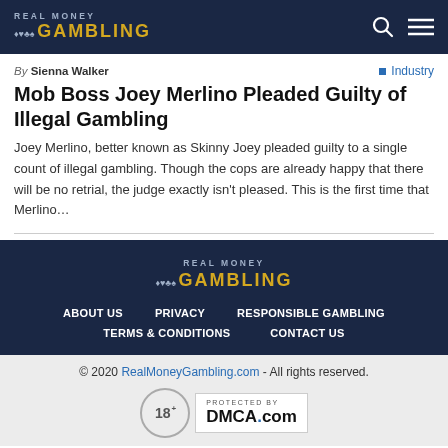REAL MONEY GAMBLING
By Sienna Walker
Industry
Mob Boss Joey Merlino Pleaded Guilty of Illegal Gambling
Joey Merlino, better known as Skinny Joey pleaded guilty to a single count of illegal gambling. Though the cops are already happy that there will be no retrial, the judge exactly isn't pleased. This is the first time that Merlino…
[Figure (logo): Real Money Gambling logo in footer - dark background with card suits]
ABOUT US  PRIVACY  RESPONSIBLE GAMBLING  TERMS & CONDITIONS  CONTACT US
© 2020 RealMoneyGambling.com - All rights reserved.